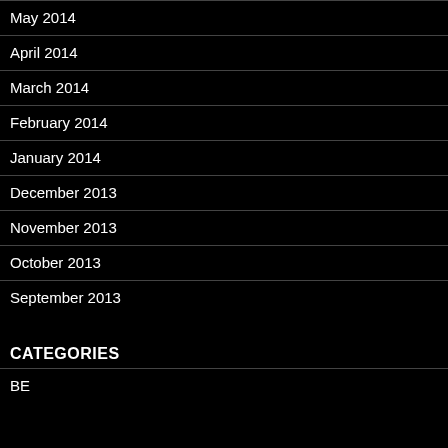May 2014
April 2014
March 2014
February 2014
January 2014
December 2013
November 2013
October 2013
September 2013
CATEGORIES
BE